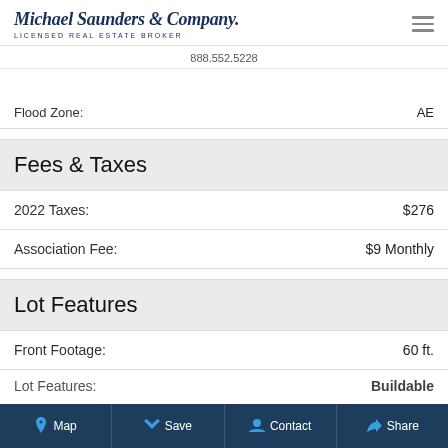Michael Saunders & Company. LICENSED REAL ESTATE BROKER 888.552.5228
Flood Zone: AE
Fees & Taxes
2022 Taxes: $276
Association Fee: $9 Monthly
Lot Features
Front Footage: 60 ft.
Lot Features: Buildable
Map  Save  Contact  Share